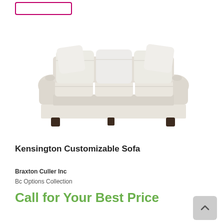[Figure (photo): A cream/off-white upholstered three-seat sofa with rolled arms, three back cushions, and three seat cushions, with dark wooden legs, photographed on a white background. The sofa has a classic traditional style.]
Kensington Customizable Sofa
Braxton Culler Inc
Bc Options Collection
Call for Your Best Price